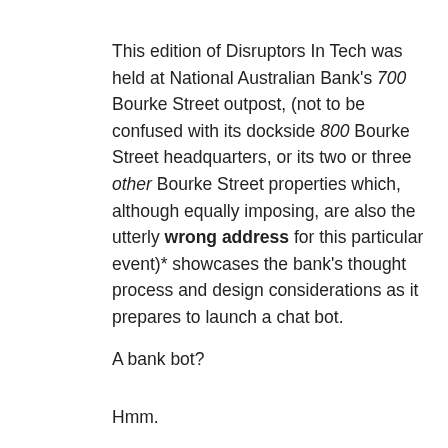This edition of Disruptors In Tech was held at National Australian Bank's 700 Bourke Street outpost, (not to be confused with its dockside 800 Bourke Street headquarters, or its two or three other Bourke Street properties which, although equally imposing, are also the utterly wrong address for this particular event)* showcases the bank's thought process and design considerations as it prepares to launch a chat bot.
A bank bot?
Hmm.